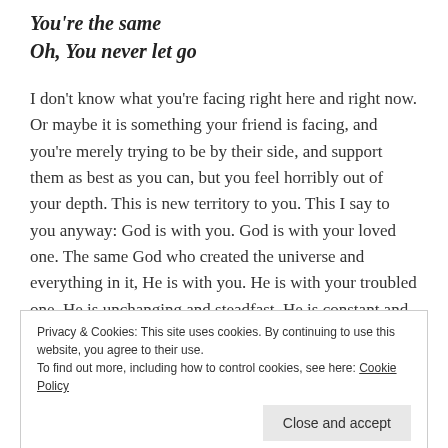You're the same
Oh, You never let go
I don't know what you're facing right here and right now.  Or maybe it is something your friend is facing, and you're merely trying to be by their side, and support them as best as you can, but you feel horribly out of your depth.  This is new territory to you. This I say to you anyway: God is with you. God is with your loved one.  The same God who created the universe and everything in it, He is with you.  He is with your troubled one.  He is unchanging and steadfast.  He is constant and true.  And
Privacy & Cookies: This site uses cookies. By continuing to use this website, you agree to their use.
To find out more, including how to control cookies, see here: Cookie Policy

Close and accept
will equip and inspire